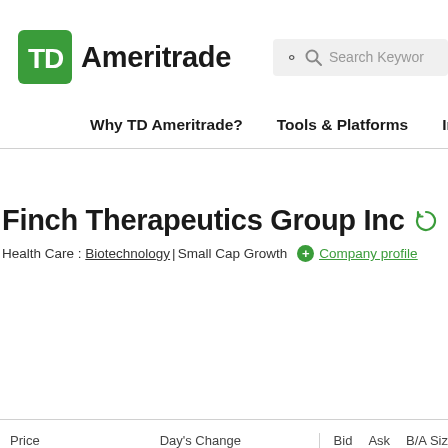[Figure (logo): TD Ameritrade logo with green TD box and bold Ameritrade text]
[Figure (screenshot): Search keyword input box with magnifying glass icon]
Why TD Ameritrade?  Tools & Platforms  Inve...
Finch Therapeutics Group Inc
Health Care : Biotechnology | Small Cap Growth   + Company profile
Price   Day's Change   Bid  Ask  B/A Size